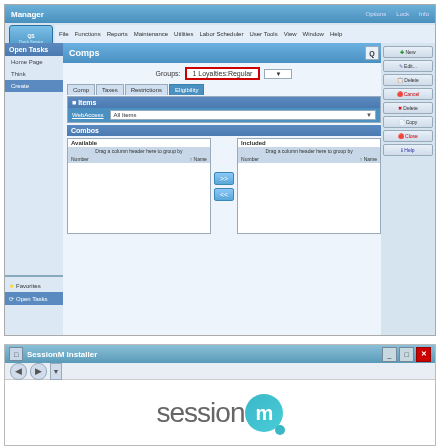[Figure (screenshot): Restaurant management software screen showing Comps section with Group field set to 'Loyalties:Regular', Items panel with a highlighted row, Combos section with Available and Included columns, and action buttons on the right (New, Edit, Delete, Cancel, Delete, Copy, Close, Help). Left panel shows Open Tasks with Home Page, Think, Create navigation items and Favorites/Open Tasks at bottom.]
[Figure (screenshot): SessionM Installer application window showing navigation toolbar and the SessionM logo (text 'sessionm' with teal circular M icon) on white background.]